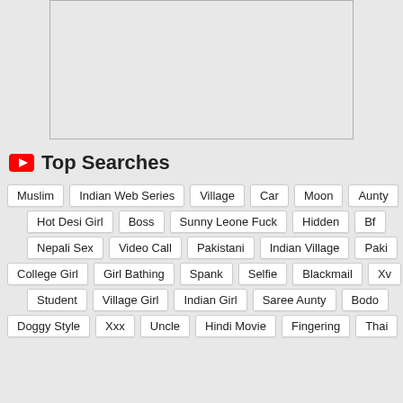[Figure (other): Advertisement placeholder box with light gray background and border]
Top Searches
Muslim
Indian Web Series
Village
Car
Moon
Aunty
Hot Desi Girl
Boss
Sunny Leone Fuck
Hidden
Bf
Nepali Sex
Video Call
Pakistani
Indian Village
Paki
College Girl
Girl Bathing
Spank
Selfie
Blackmail
Xv
Student
Village Girl
Indian Girl
Saree Aunty
Bodo
Doggy Style
Xxx
Uncle
Hindi Movie
Fingering
Thai